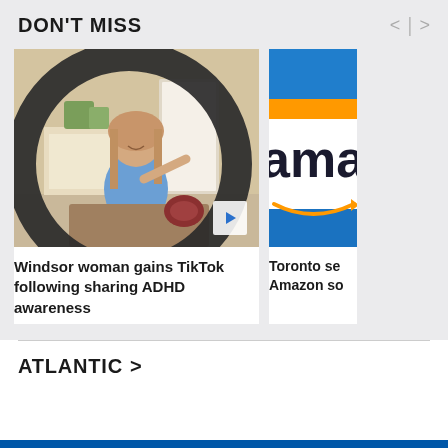DON'T MISS
[Figure (photo): Woman sitting and pointing at camera through a ring light, smiling, wearing a blue top and jeans. Indoor setting with fireplace and plants in background. Play button overlay in bottom right corner.]
Windsor woman gains TikTok following sharing ADHD awareness
[Figure (photo): Partial view of Amazon sign/logo on a blue sky background, showing 'ama' text and the orange arrow smile logo.]
Toronto se Amazon so
ATLANTIC >